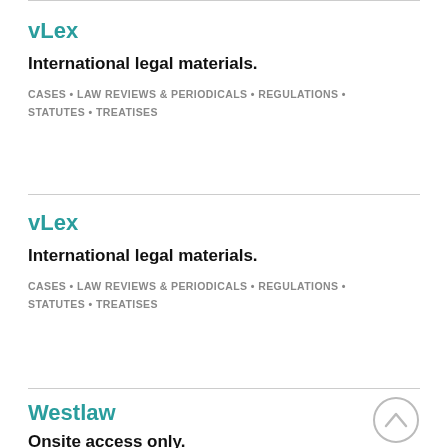vLex
International legal materials.
CASES • LAW REVIEWS & PERIODICALS • REGULATIONS • STATUTES • TREATISES
vLex
International legal materials.
CASES • LAW REVIEWS & PERIODICALS • REGULATIONS • STATUTES • TREATISES
Westlaw
Onsite access only.
CASES • COURT RECORDS & BRIEFS • DICTIONARIES •